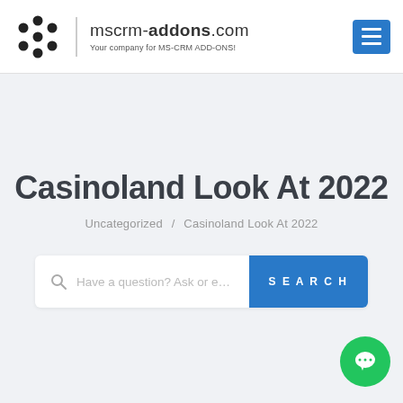[Figure (logo): mscrm-addons.com logo with circular dot pattern icon and text 'mscrm-addons.com Your company for MS-CRM ADD-ONS!']
Casinoland Look At 2022
Uncategorized / Casinoland Look At 2022
[Figure (screenshot): Search bar with magnifier icon, placeholder text 'Have a question? Ask or enter a search term here...' and blue SEARCH button]
[Figure (other): Green circular chat bubble button with three dots]